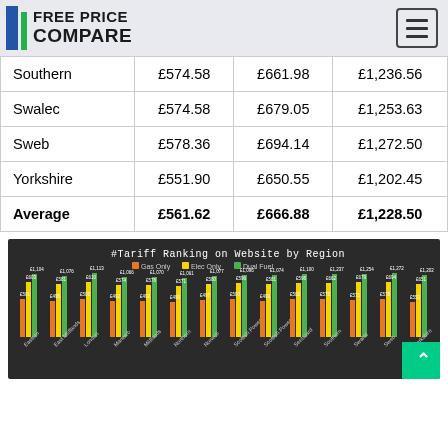Free Price Compare
|  | Gas | Electricity | Dual Fuel |
| --- | --- | --- | --- |
| Southern | £574.58 | £661.98 | £1,236.56 |
| Swalec | £574.58 | £679.05 | £1,253.63 |
| Sweb | £578.36 | £694.14 | £1,272.50 |
| Yorkshire | £551.90 | £650.55 | £1,202.45 |
| Average | £561.62 | £666.88 | £1,228.50 |
[Figure (grouped-bar-chart): Grouped bar chart showing tariff rankings by region for Gas Only (orange), Elec Only (yellow), and Dual Fuel (green) across multiple UK regions]